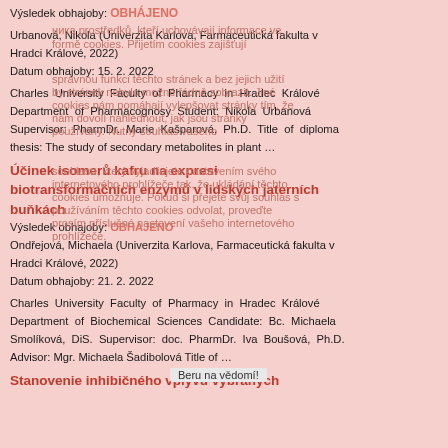Výsledek obhajoby: OBHÁJENO
Urbanová, Nikola (Univerzita Karlova, Farmaceutická fakulta v Hradci Králové, 2022)
Datum obhajoby: 15. 2. 2022
Charles University Faculty of Pharmacy in Hradec Králové Department of Pharmacognosy Student: Nikola Urbanová Supervisor: PharmDr. Marie Kašparová, Ph.D. Title of diploma thesis: The study of secondary metabolites in plant …
Účinek isomerů kafru na expresi biotransformačních enzymů v lidských jaterních buňkách
Výsledek obhajoby: OBHÁJENO
Ondřejová, Michaela (Univerzita Karlova, Farmaceutická fakulta v Hradci Králové, 2022)
Datum obhajoby: 21. 2. 2022
Charles University Faculty of Pharmacy in Hradec Králové Department of Biochemical Sciences Candidate: Bc. Michaela Smolíková, DiS. Supervisor: doc. PharmDr. Iva Boušová, Ph.D. Advisor: Mgr. Michaela Šadibolová Title of …
Stanovenie inhibičného vplyvu vybraných